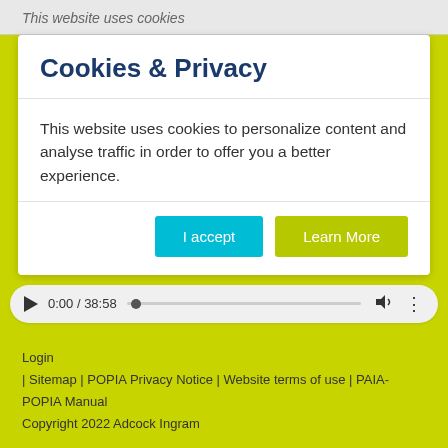This website uses cookies
Cookies & Privacy
This website uses cookies to personalize content and analyse traffic in order to offer you a better experience.
[Figure (screenshot): Cookie consent dialog with 'I accept' (cyan button) and 'Learn More' (yellow-green button)]
[Figure (screenshot): Video player bar showing play button, time 0:00 / 38:58, progress bar, volume icon, and more options icon]
Login | Sitemap | POPIA Privacy Notice | Website terms of use | PAIA-POPIA Manual Copyright 2022 Adcock Ingram